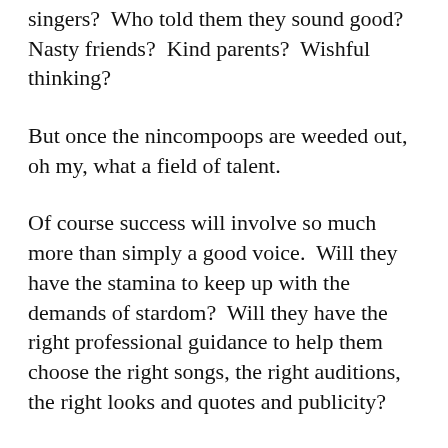singers?  Who told them they sound good?  Nasty friends?  Kind parents?  Wishful thinking?
But once the nincompoops are weeded out, oh my, what a field of talent.
Of course success will involve so much more than simply a good voice.  Will they have the stamina to keep up with the demands of stardom?  Will they have the right professional guidance to help them choose the right songs, the right auditions, the right looks and quotes and publicity?
Will they avoid the temptations that take so many fine artists down the road to